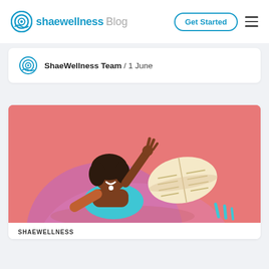[Figure (logo): ShaeWellness Blog logo with circular icon]
Get Started
ShaeWellness Team / 1 June
[Figure (illustration): Illustration of a dark-skinned woman with curly hair, wearing a blue top, stretching one arm upward while relaxing on a pink background. An open book is visible to her right. Salmon/coral pink background with mauve circular shapes.]
SHAEWELLNESS